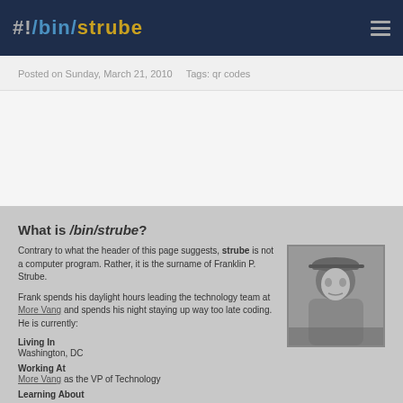#!/bin/strube
Posted on Sunday, March 21, 2010    Tags: qr codes
What is /bin/strube?
Contrary to what the header of this page suggests, strube is not a computer program. Rather, it is the surname of Franklin P. Strube.

Frank spends his daylight hours leading the technology team at More Vang and spends his night staying up way too late coding. He is currently:
[Figure (photo): Black and white portrait photo of Franklin P. Strube wearing a cap, looking upward]
Living In
Washington, DC
Working At
More Vang as the VP of Technology
Learning About